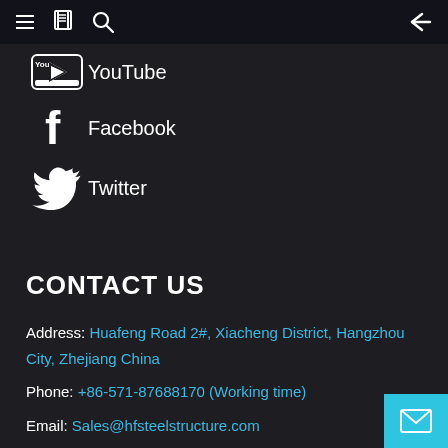Navigation bar with menu, book, search icons and back arrow
YouTube
Facebook
Twitter
CONTACT US
Address: Huafeng Road 2#, Xiacheng District, Hangzhou City, Zhejiang China
Phone: +86-571-87688170 (Working time)
Email: Sales@hfsteelstructure.com
We are open:Mn-Fr:8:30 am-6:00 pm